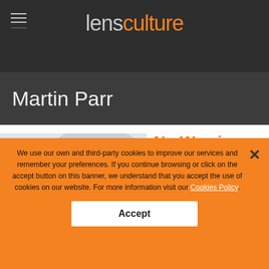lensculture
Martin Parr
[Figure (photo): Book cover of 'No Worries' by Martin Parr, showing a seascape with cloudy sky and calm water, text 'NO WORRIES Martin Parr' overlaid in small bold font]
No Worries
by Martin Parr
Publisher's Description
We use our own and third-party cookies to improve our services and remember your preferences. If you continue browsing or click on the accept button on this banner, we understand that you accept the use of cookies on our website. For more information visit our Cookies Policy.